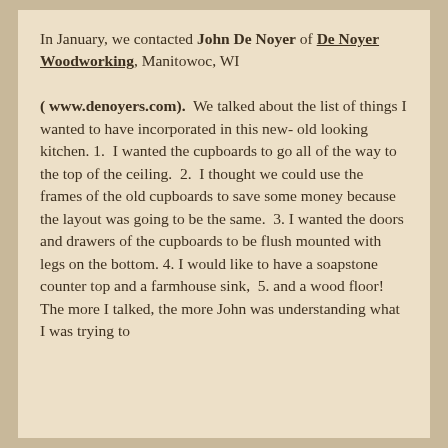In January, we contacted John De Noyer of De Noyer Woodworking, Manitowoc, WI

( www.denoyers.com).  We talked about the list of things I wanted to have incorporated in this new- old looking  kitchen. 1.  I wanted the cupboards to go all of the way to the top of the ceiling.  2.  I thought we could use the frames of the old cupboards to save some money because the layout was going to be the same.  3. I wanted the doors and drawers of the cupboards to be flush mounted with legs on the bottom. 4. I would like to have a soapstone counter top and a farmhouse sink,  5. and a wood floor!  The more I talked, the more John was understanding what I was trying to